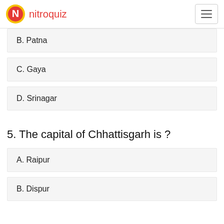nitroquiz
B. Patna
C. Gaya
D. Srinagar
5. The capital of Chhattisgarh is ?
A. Raipur
B. Dispur